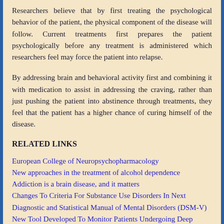Researchers believe that by first treating the psychological behavior of the patient, the physical component of the disease will follow. Current treatments first prepares the patient psychologically before any treatment is administered which researchers feel may force the patient into relapse.
By addressing brain and behavioral activity first and combining it with medication to assist in addressing the craving, rather than just pushing the patient into abstinence through treatments, they feel that the patient has a higher chance of curing himself of the disease.
RELATED LINKS
European College of Neuropsychopharmacology
New approaches in the treatment of alcohol dependence
Addiction is a brain disease, and it matters
Changes To Criteria For Substance Use Disorders In Next Diagnostic and Statistical Manual of Mental Disorders (DSM-V)
New Tool Developed To Monitor Patients Undergoing Deep